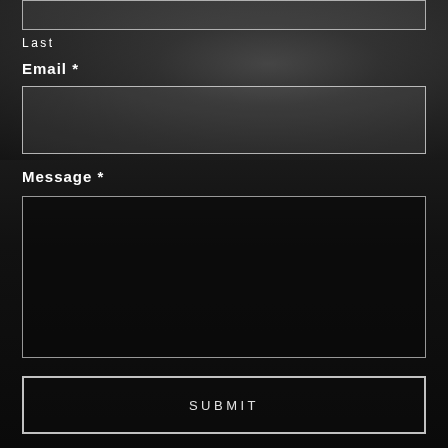Last
Email *
[Figure (other): Email input text field, empty, with white border on dark rocky background]
Message *
[Figure (other): Message textarea input field, empty, with white border on very dark background]
SUBMIT